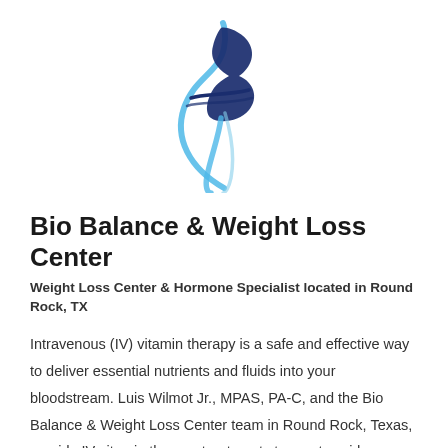[Figure (logo): Bio Balance & Weight Loss Center logo — stylized letter B with blue and navy swirl/curve design]
Bio Balance & Weight Loss Center
Weight Loss Center & Hormone Specialist located in Round Rock, TX
Intravenous (IV) vitamin therapy is a safe and effective way to deliver essential nutrients and fluids into your bloodstream. Luis Wilmot Jr., MPAS, PA-C, and the Bio Balance & Weight Loss Center team in Round Rock, Texas, provide IV vitamin therapy treatments to meet a wide range of health needs and therapeutic goals.